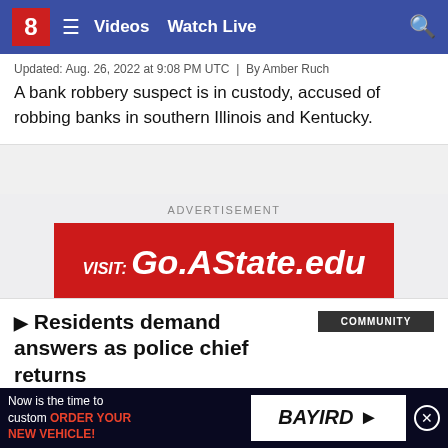8  Videos  Watch Live
Updated: Aug. 26, 2022 at 9:08 PM UTC  |  By Amber Ruch
A bank robbery suspect is in custody, accused of robbing banks in southern Illinois and Kentucky.
[Figure (other): Advertisement banner: VISIT: Go.AState.edu on red background]
Residents demand answers as police chief returns
Updated: Aug. 26, 2022 at 3:42 AM UTC  |  By Imani Williams
"It makes me feel weary and uncomfortable," residents respo...
[Figure (other): Bottom advertisement: Bayird - Now is the time to custom ORDER YOUR NEW VEHICLE!]